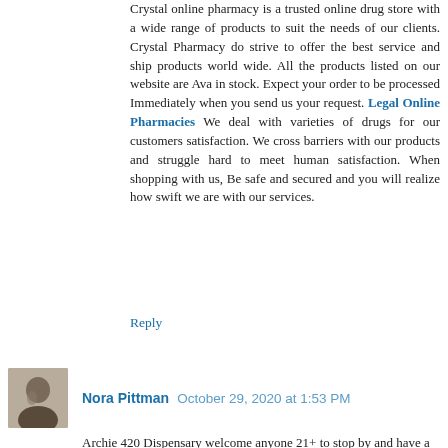Crystal online pharmacy is a trusted online drug store with a wide range of products to suit the needs of our clients. Crystal Pharmacy do strive to offer the best service and ship products world wide. All the products listed on our website are Ava in stock. Expect your order to be processed Immediately when you send us your request. Legal Online Pharmacies We deal with varieties of drugs for our customers satisfaction. We cross barriers with our products and struggle hard to meet human satisfaction. When shopping with us, Be safe and secured and you will realize how swift we are with our services.
Reply
Nora Pittman  October 29, 2020 at 1:53 PM
Archie 420 Dispensary welcome anyone 21+ to stop by and have a one of a kind Marijuana experience with us. No trip to the Evergreen state is complete without a visit to archie 420 Marijuana dispensary. Also, you can Check out Midweek specials: $2 off ANY pre-roll Tuesday and $2 off ANY 1 gram Wednesday! We accept variety forms of payments.